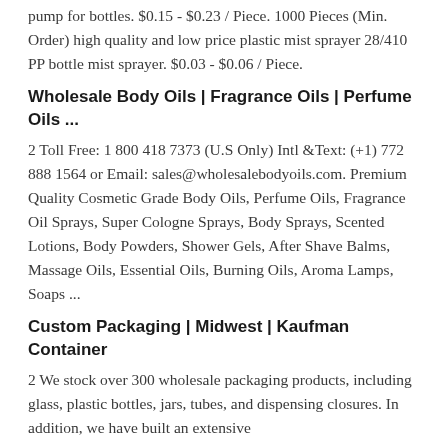pump for bottles. $0.15 - $0.23 / Piece. 1000 Pieces (Min. Order) high quality and low price plastic mist sprayer 28/410 PP bottle mist sprayer. $0.03 - $0.06 / Piece.
Wholesale Body Oils | Fragrance Oils | Perfume Oils ...
2 Toll Free: 1 800 418 7373 (U.S Only) Intl &Text: (+1) 772 888 1564 or Email: sales@wholesalebodyoils.com. Premium Quality Cosmetic Grade Body Oils, Perfume Oils, Fragrance Oil Sprays, Super Cologne Sprays, Body Sprays, Scented Lotions, Body Powders, Shower Gels, After Shave Balms, Massage Oils, Essential Oils, Burning Oils, Aroma Lamps, Soaps ...
Custom Packaging | Midwest | Kaufman Container
2 We stock over 300 wholesale packaging products, including glass, plastic bottles, jars, tubes, and dispensing closures. In addition, we have built an extensive